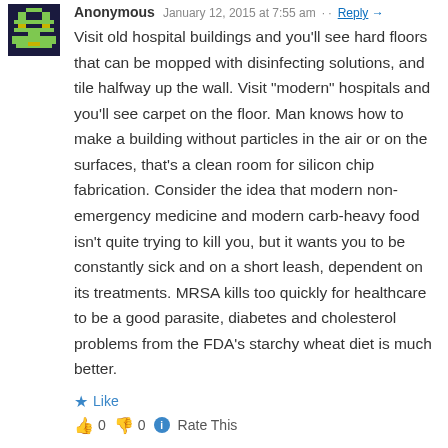[Figure (illustration): Pixel art avatar icon - a pixelated robot/character in green and yellow on dark blue background]
Anonymous · January 12, 2015 at 7:55 am · · Reply →
Visit old hospital buildings and you'll see hard floors that can be mopped with disinfecting solutions, and tile halfway up the wall. Visit "modern" hospitals and you'll see carpet on the floor. Man knows how to make a building without particles in the air or on the surfaces, that's a clean room for silicon chip fabrication. Consider the idea that modern non-emergency medicine and modern carb-heavy food isn't quite trying to kill you, but it wants you to be constantly sick and on a short leash, dependent on its treatments. MRSA kills too quickly for healthcare to be a good parasite, diabetes and cholesterol problems from the FDA's starchy wheat diet is much better.
★ Like
👍 0 👎 0 ℹ Rate This